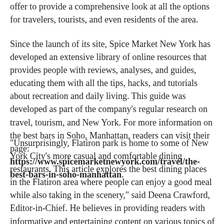offer to provide a comprehensive look at all the options for travelers, tourists, and even residents of the area.
Since the launch of its site, Spice Market New York has developed an extensive library of online resources that provides people with reviews, analyses, and guides, educating them with all the tips, hacks, and tutorials about recreation and daily living. This guide was developed as part of the company's regular research on travel, tourism, and New York. For more information on the best bars in Soho, Manhattan, readers can visit their page: https://www.spicemarketnewyork.com/travel/the-best-bars-in-soho-manhattan.
"Unsurprisingly, Flatiron park is home to some of New York City's more casual and comfortable dining restaurants. This article explores the best dining places in the Flatiron area where people can enjoy a good meal while also taking in the scenery," said Deena Crawford, Editor-in-Chief. He believes in providing readers with informative and entertaining content on various topics of life and recreation.